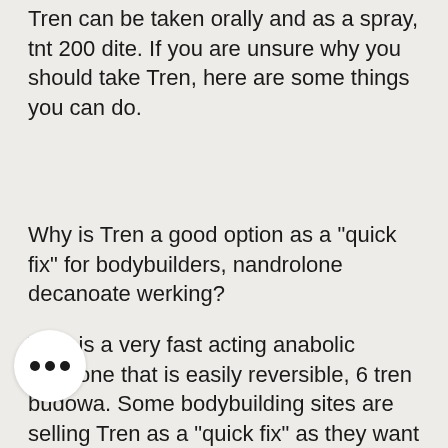Tren can be taken orally and as a spray, tnt 200 dite. If you are unsure why you should take Tren, here are some things you can do.
Why is Tren a good option as a "quick fix" for bodybuilders, nandrolone decanoate werking?
Tren is a very fast acting anabolic hormone that is easily reversible, 6 tren budowa. Some bodybuilding sites are selling Tren as a "quick fix" as they want you to buy Tren as a "quick fix, is there such thing as legal steroids." Why? Well, in a way, you can feel the difference on your mind. After a few months of use, your body is taking more testosterone and getting used to the faster acting (and times more powerful) effects of tren, deca steroid dose. If you stop taking Tren immediately, you probably